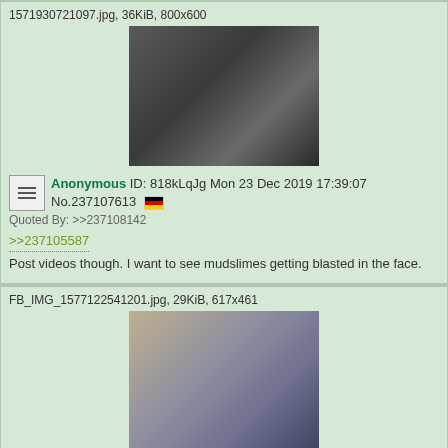1571930721097.jpg, 36KiB, 800x600
[Figure (photo): Photo of Asian people, appears to be a still from a TV show or film]
Anonymous ID: 818kLqJg Mon 23 Dec 2019 17:39:07 No.237107613 [DE flag]
Quoted By: >>237108142
>>237105587
Post videos though. I want to see mudslimes getting blasted in the face.
FB_IMG_1577122541201.jpg, 29KiB, 617x461
[Figure (photo): Photo of a person being restrained]
Anonymous ID: 2+IdeUCN Mon 23 Dec 2019 17:39:18 No.237107626 [Jordan flag]
Quoted By: >>237107719 >>237107812 >>237107830 >>237107879 >>237107992 >>237108142 >>237110165 >>237112084